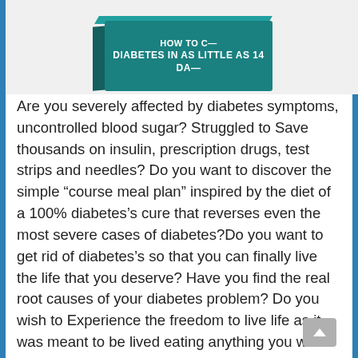[Figure (photo): Partial view of a book titled 'How to cure diabetes in as little as 14 days' with teal/green cover, shown from above at an angle]
Are you severely affected by diabetes symptoms, uncontrolled blood sugar? Struggled to Save thousands on insulin, prescription drugs, test strips and needles? Do you want to discover the simple “course meal plan” inspired by the diet of a 100% diabetes’s cure that reverses even the most severe cases of diabetes?Do you want to get rid of diabetes’s so that you can finally live the life that you deserve? Have you find the real root causes of your diabetes problem? Do you wish to Experience the freedom to live life as it was meant to be lived eating anything you want? Well, if yes, then the Miracle Shake formula is just for you. This comprehensive, lucid Miracle Shake to treat diabetes method best solution meant to properly manage diabetes without any side effects. Already this program helped more than thousands of men and women from